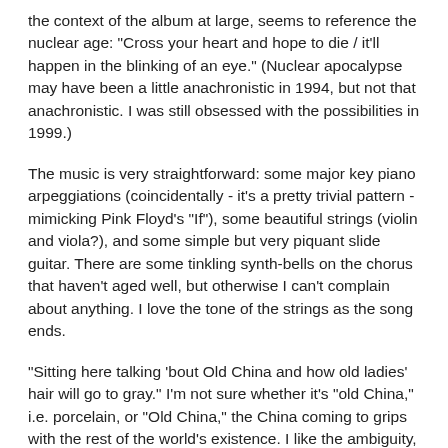the context of the album at large, seems to reference the nuclear age: "Cross your heart and hope to die / it'll happen in the blinking of an eye." (Nuclear apocalypse may have been a little anachronistic in 1994, but not that anachronistic. I was still obsessed with the possibilities in 1999.)
The music is very straightforward: some major key piano arpeggiations (coincidentally - it's a pretty trivial pattern - mimicking Pink Floyd's "If"), some beautiful strings (violin and viola?), and some simple but very piquant slide guitar. There are some tinkling synth-bells on the chorus that haven't aged well, but otherwise I can't complain about anything. I love the tone of the strings as the song ends.
"Sitting here talking 'bout Old China and how old ladies' hair will go to gray." I'm not sure whether it's "old China," i.e. porcelain, or "Old China," the China coming to grips with the rest of the world's existence. I like the ambiguity, but I always think of the period of so much turbulence and promise in the world's oldest civilization, and how gruesomely it came to an end at the hands of Kai-shek, the Japanese, Mao, and the Cultural Revolutionaries. I do not mean to attribute equal